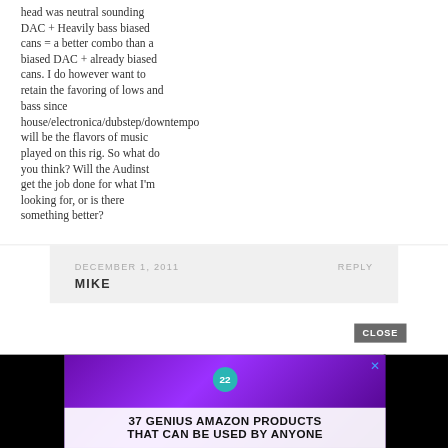head was neutral sounding DAC + Heavily bass biased cans = a better combo than a biased DAC + already biased cans. I do however want to retain the favoring of lows and bass since house/electronica/dubstep/downtempo will be the flavors of music played on this rig. So what do you think? Will the Audinst get the job done for what I'm looking for, or is there something better?
DECEMBER 1, 2011    REPLY
MIKE
[Figure (screenshot): Advertisement showing purple headphones with '22' badge and text '37 GENIUS AMAZON PRODUCTS THAT CAN BE USED BY ANYONE' with a CLOSE button and X button]